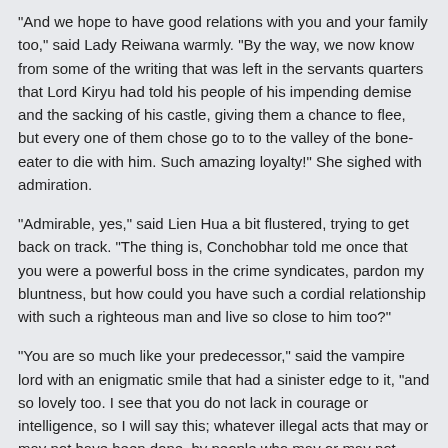"And we hope to have good relations with you and your family too," said Lady Reiwana warmly. "By the way, we now know from some of the writing that was left in the servants quarters that Lord Kiryu had told his people of his impending demise and the sacking of his castle, giving them a chance to flee, but every one of them chose go to to the valley of the bone-eater to die with him. Such amazing loyalty!" She sighed with admiration.
"Admirable, yes," said Lien Hua a bit flustered, trying to get back on track. "The thing is, Conchobhar told me once that you were a powerful boss in the crime syndicates, pardon my bluntness, but how could you have such a cordial relationship with such a righteous man and live so close to him too?"
"You are so much like your predecessor," said the vampire lord with an enigmatic smile that had a sinister edge to it, "and so lovely too. I see that you do not lack in courage or intelligence, so I will say this; whatever illegal acts that may or may not have been done, by people who may or may not have been under me, were never done in the central region, by strict orders. There is no reason to involve people that I respect in things that they do not approve of."
"I do hope that this won't get in the way of our being friends," said lady Reiwana. "I had so much fun renovating your castle. There are so few women of rank to have parties with, most of the lords seem to be